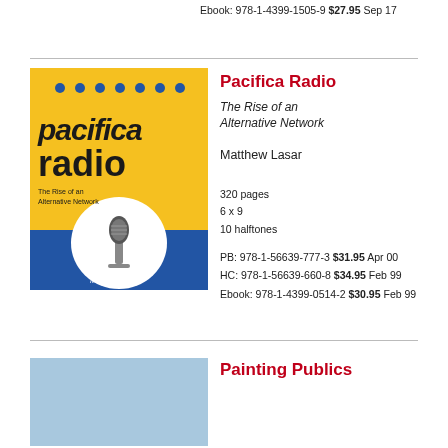Ebook: 978-1-4399-1505-9 $27.95 Sep 17
[Figure (illustration): Book cover of Pacifica Radio: The Rise of an Alternative Network by Matthew Lasar. Yellow cover with blue dots at top, bold black text 'pacifica radio', subtitle 'The Rise of an Alternative Network', circular image of a microphone, author name 'Matthew Lasar' at bottom, blue band at bottom.]
Pacifica Radio
The Rise of an Alternative Network
Matthew Lasar
320 pages
6 x 9
10 halftones
PB: 978-1-56639-777-3 $31.95 Apr 00
HC: 978-1-56639-660-8 $34.95 Feb 99
Ebook: 978-1-4399-0514-2 $30.95 Feb 99
[Figure (illustration): Partial view of a book cover with light blue/grey background, partially visible at page bottom.]
Painting Publics